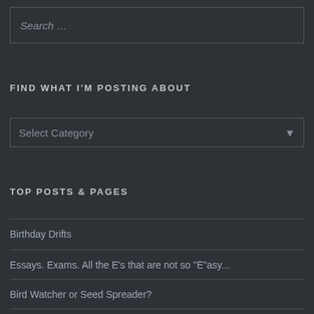Search …
FIND WHAT I'M POSTING ABOUT
Select Category
TOP POSTS & PAGES
Birthday Drifts
Essays. Exams. All the E's that are not so "E"asy...
Bird Watcher or Seed Spreader?